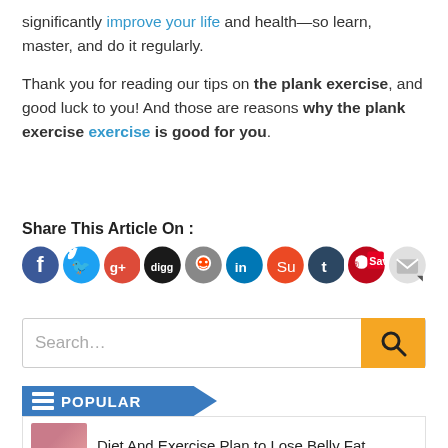significantly improve your life and health—so learn, master, and do it regularly.

Thank you for reading our tips on the plank exercise, and good luck to you! And those are reasons why the plank exercise is good for you.
Share This Article On :
[Figure (other): Row of social media sharing icons: Facebook, Twitter, Google+, Digg, Reddit, LinkedIn, StumbleUpon, Tumblr, Pinterest Save, Email]
[Figure (other): Search bar with text 'Search...' and an orange search button with magnifying glass icon]
POPULAR
Diet And Exercise Plan to Lose Belly Fat